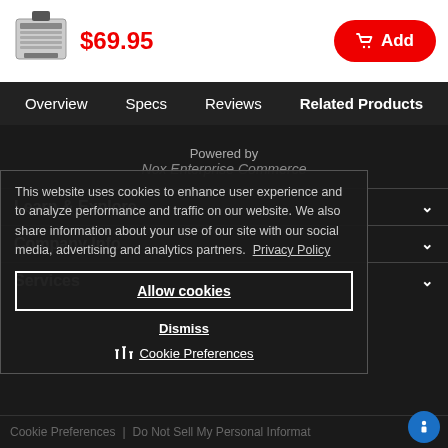[Figure (photo): Product image of an ink cartridge or printer cartridge in the top-left of the header bar]
$69.95
🛒 Add
Overview   Specs   Reviews   Related Products
Powered by
Nox Enterprise Commerce
This website uses cookies to enhance user experience and to analyze performance and traffic on our website. We also share information about your use of our site with our social media, advertising and analytics partners.  Privacy Policy
Learn & Explore
Company Info
Services
Allow cookies
Dismiss
Cookie Preferences
Cookie Preferences  |  Do Not Sell My Personal Information